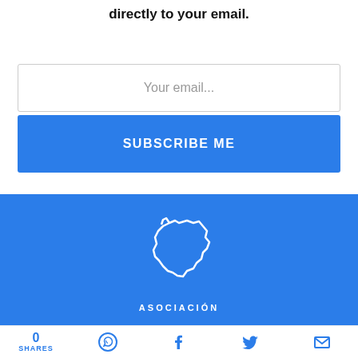directly to your email.
[Figure (screenshot): Email input field with placeholder text 'Your email...']
SUBSCRIBE ME
[Figure (logo): White outline map logo of a region on blue background with text ASOCIACIÓN below]
0 SHARES | WhatsApp icon | Facebook icon | Twitter icon | Email icon